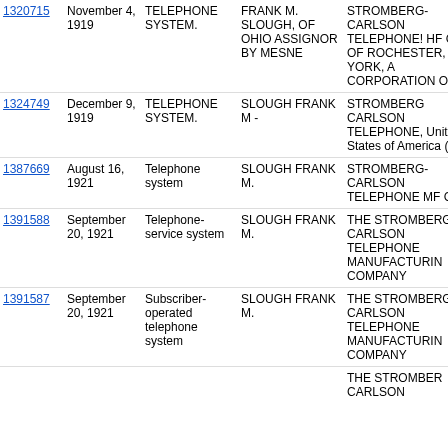| Patent | Date | Title | Inventor | Assignee |
| --- | --- | --- | --- | --- |
| 1320715 | November 4, 1919 | TELEPHONE SYSTEM. | FRANK M. SLOUGH, OF OHIO ASSIGNOR BY MESNE | STROMBERG-CARLSON TELEPHONE! HF CO., OF ROCHESTER, NE YORK, A CORPORATION O N |
| 1324749 | December 9, 1919 | TELEPHONE SYSTEM. | SLOUGH FRANK M - | STROMBERG CARLSON TELEPHONE, United States of America (US) |
| 1387669 | August 16, 1921 | Telephone system | SLOUGH FRANK M. | STROMBERG-CARLSON TELEPHONE MF CO. |
| 1391588 | September 20, 1921 | Telephone-service system | SLOUGH FRANK M. | THE STROMBERG CARLSON TELEPHONE MANUFACTURIN COMPANY |
| 1391587 | September 20, 1921 | Subscriber-operated telephone system | SLOUGH FRANK M. | THE STROMBERG CARLSON TELEPHONE MANUFACTURIN COMPANY |
|  |  |  |  | THE STROMBER CARLSON |